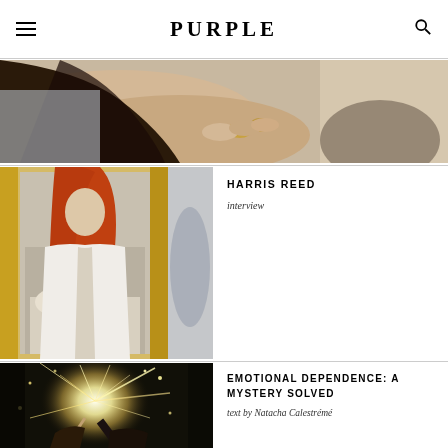PURPLE
[Figure (photo): Close-up photo of a person's arms crossed, wearing rings on fingers, with long dark hair visible]
[Figure (photo): Photo of Harris Reed with long red hair, wearing a white open blazer, standing in front of a gold-framed mirror]
HARRIS REED
interview
[Figure (photo): Dark photo of hands holding a sparkler or firework with sparks flying, dramatic lighting]
EMOTIONAL DEPENDENCE: A MYSTERY SOLVED
text by Natacha Calestrémé